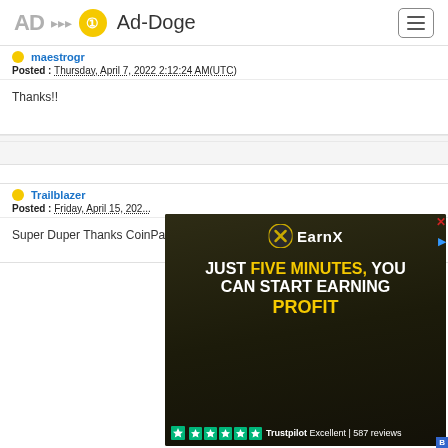Ad-Doge
maestrogr
Posted : Thursday, April 7, 2022 2:12:24 AM(UTC)
Thanks!!
Trailblazer
Posted : Friday, April 15, 202...
Super Duper Thanks CoinPay...
[Figure (photo): EarnX advertisement: 'JUST FIVE MINUTES, YOU CAN START EARNING PROFIT' with Trustpilot rating - Excellent | 587 reviews]